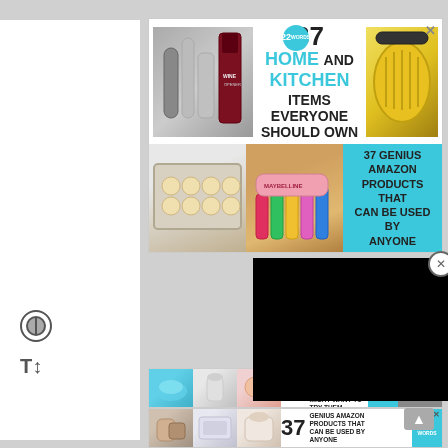[Figure (infographic): Advertisement banner: '37 HOME AND KITCHEN ITEMS EVERYONE SHOULD OWN' with 22words badge, kitchen products images, and close button]
[Figure (infographic): Advertisement banner: '37 GENIUS AMAZON PRODUCTS THAT CAN BE USED BY ANYONE' on teal background with product photos]
[Figure (other): Black video player block]
[Figure (infographic): Bottom advertisement strip: '37 BEAUTY PRODUCTS WITH SUCH GOOD REVIEWS YOU MIGHT WANT TO TRY THEM YOURSELF' with CLOSE button and 22words badge]
[Figure (infographic): Bottom advertisement strip: '37 GENIUS AMAZON PRODUCTS THAT CAN BE USED BY ANYONE' with 22words badge]